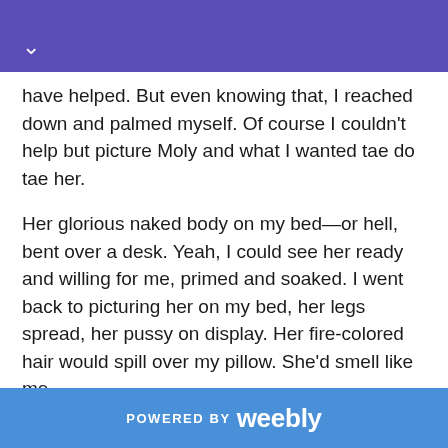have helped. But even knowing that, I reached down and palmed myself. Of course I couldn't help but picture Moly and what I wanted tae do tae her.
Her glorious naked body on my bed—or hell, bent over a desk. Yeah, I could see her ready and willing for me, primed and soaked. I went back to picturing her on my bed, her legs spread, her pussy on display. Her fire-colored hair would spill over my pillow. She'd smell like me.
She'd watch me quietly, waiting for me to tell her what to do. We'd both want it though. And that's when I'd tell her to spread those pretty pussy lips for me.
POWERED BY weebly